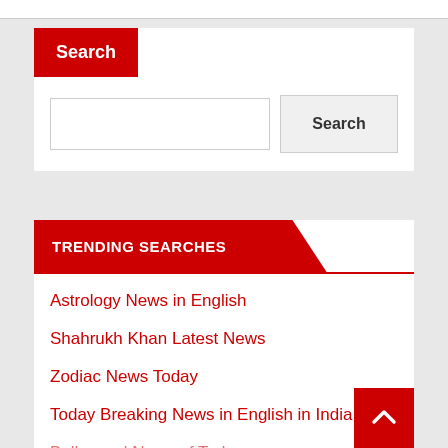Search
[Figure (screenshot): Search input field (empty text box) and Search button]
TRENDING SEARCHES
Astrology News in English
Shahrukh Khan Latest News
Zodiac News Today
Today Breaking News in English in India
Bollywood News of Today